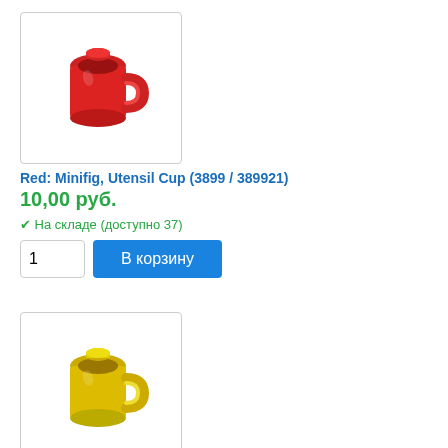[Figure (photo): Red LEGO Minifig Utensil Cup piece, 3D rendered image on white background]
Red: Minifig, Utensil Cup (3899 / 389921)
10,00 руб.
На складе (доступно 37)
[Figure (photo): Yellow LEGO Minifig Utensil Cup piece, 3D rendered image on white background]
Yellow: Minifig, Utensil Cup (3899 / 389924)
7,00 руб.
На складе (доступно 9)